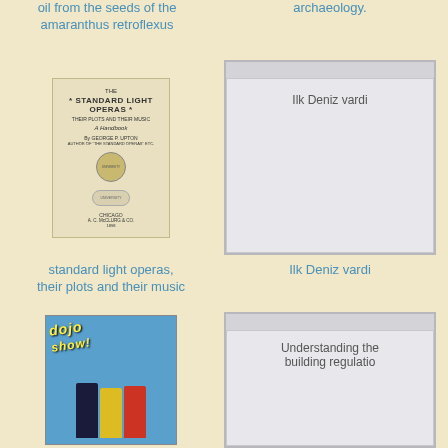oil from the seeds of the amaranthus retroflexus
archaeology.
[Figure (photo): Book cover of 'The Standard Light Operas: Their Plots and Their Music, A Handbook' by George P. Upton, published in Chicago by A.C. McClurg & Co.]
[Figure (other): Gray placeholder card with text 'Ilk Deniz vardi']
standard light operas, their plots and their music
Ilk Deniz vardi
[Figure (photo): Book cover of 'Dojo' showing illustrated characters in outdoor/adventure clothing]
[Figure (other): Gray placeholder card with text 'Understanding the building regulatio']